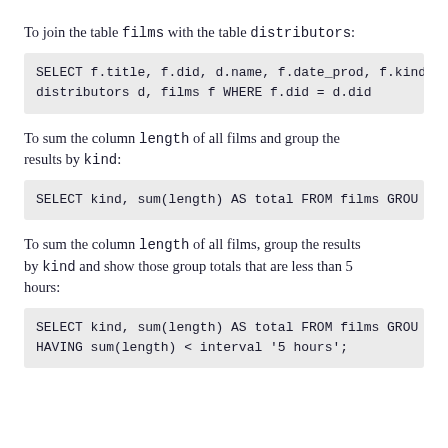To join the table films with the table distributors:
SELECT f.title, f.did, d.name, f.date_prod, f.kind FROM distributors d, films f WHERE f.did = d.did
To sum the column length of all films and group the results by kind:
SELECT kind, sum(length) AS total FROM films GROUP BY kind;
To sum the column length of all films, group the results by kind and show those group totals that are less than 5 hours:
SELECT kind, sum(length) AS total FROM films GROUP BY kind HAVING sum(length) < interval '5 hours';